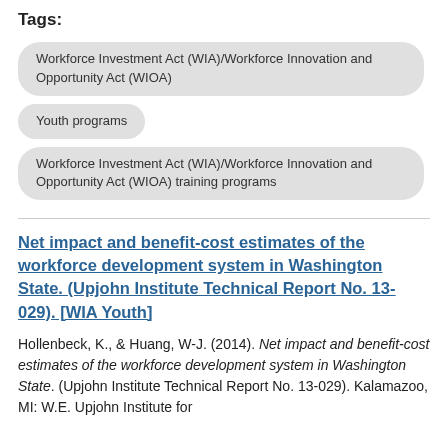Tags:
Workforce Investment Act (WIA)/Workforce Innovation and Opportunity Act (WIOA)
Youth programs
Workforce Investment Act (WIA)/Workforce Innovation and Opportunity Act (WIOA) training programs
Net impact and benefit-cost estimates of the workforce development system in Washington State. (Upjohn Institute Technical Report No. 13-029). [WIA Youth]
Hollenbeck, K., & Huang, W-J. (2014). Net impact and benefit-cost estimates of the workforce development system in Washington State. (Upjohn Institute Technical Report No. 13-029). Kalamazoo, MI: W.E. Upjohn Institute for